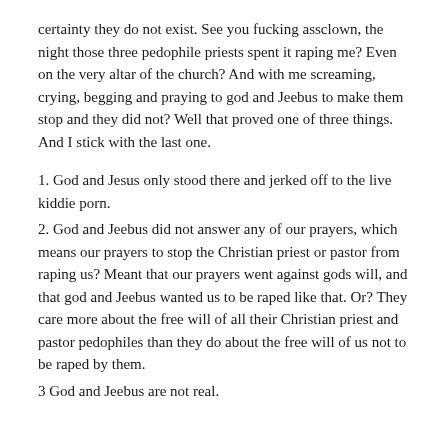certainty they do not exist. See you fucking assclown, the night those three pedophile priests spent it raping me? Even on the very altar of the church? And with me screaming, crying, begging and praying to god and Jeebus to make them stop and they did not? Well that proved one of three things. And I stick with the last one.
1. God and Jesus only stood there and jerked off to the live kiddie porn.
2. God and Jeebus did not answer any of our prayers, which means our prayers to stop the Christian priest or pastor from raping us? Meant that our prayers went against gods will, and that god and Jeebus wanted us to be raped like that. Or? They care more about the free will of all their Christian priest and pastor pedophiles than they do about the free will of us not to be raped by them.
3 God and Jeebus are not real.